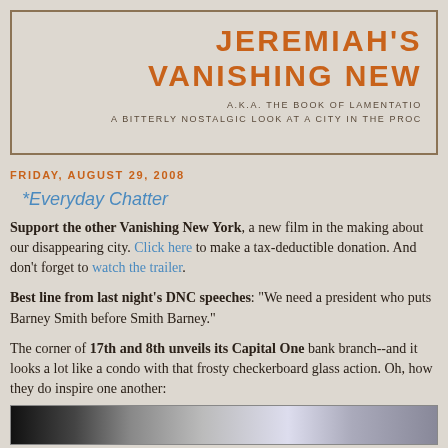JEREMIAH'S VANISHING NEW [YORK] — A.K.A. THE BOOK OF LAMENTATIONS — A BITTERLY NOSTALGIC LOOK AT A CITY IN THE PROC[ESS OF DISAPPEARING]
FRIDAY, AUGUST 29, 2008
*Everyday Chatter
Support the other Vanishing New York, a new film in the making about our disappearing city. Click here to make a tax-deductible donation. And don't forget to watch the trailer.
Best line from last night's DNC speeches: "We need a president who puts Barney Smith before Smith Barney."
The corner of 17th and 8th unveils its Capital One bank branch--and it looks a lot like a condo with that frosty checkerboard glass action. Oh, how they do inspire one another:
[Figure (photo): Partial view of a building exterior, appears to show a storefront or building facade with dark and light panels.]